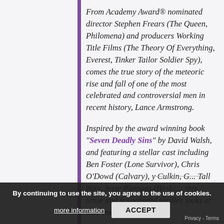From Academy Award® nominated director Stephen Frears (The Queen, Philomena) and producers Working Title Films (The Theory Of Everything, Everest, Tinker Tailor Soldier Spy), comes the true story of the meteoric rise and fall of one of the most celebrated and controversial men in recent history, Lance Armstrong.
Inspired by the award winning book "Seven Deadly Sins" by David Walsh, and featuring a stellar cast including Ben Foster (Lone Survivor), Chris O'Dowd (Calvary), ... Jesse Plemons (Bird...)... this tense and suspenseful thriller looks at how one of the greatest
By continuing to use the site, you agree to the use of cookies.
more information
ACCEPT
Privacy - Terms